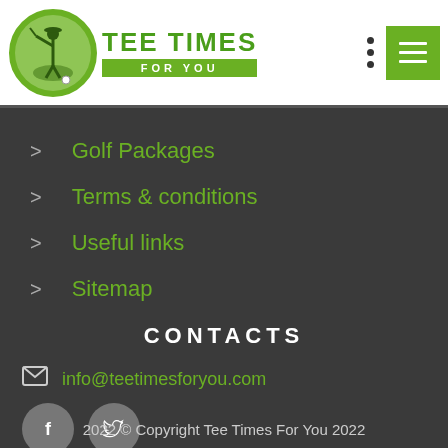[Figure (logo): Tee Times For You logo with green circle golf graphic and green brand name text with FOR YOU banner]
> Golf Packages
> Terms & conditions
> Useful links
> Sitemap
CONTACTS
info@teetimesforyou.com
2022 © Copyright Tee Times For You 2022